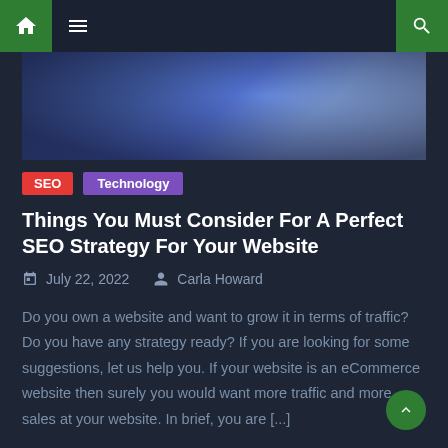Home | Menu | Search navigation bar
[Figure (photo): Hero image with blue-toned abstract digital/tech background, blurred human figure with glowing blue light effects]
SEO  Technology
Things You Must Consider For A Perfect SEO Strategy For Your Website
July 22, 2022  Carla Howard
Do you own a website and want to grow it in terms of traffic? Do you have any strategy ready? If you are looking for some suggestions, let us help you. If your website is an eCommerce website then surely you would want more traffic and more sales at your website. In brief, you are [...]